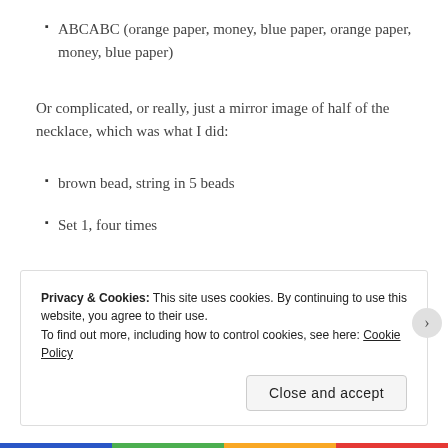ABCABC (orange paper, money, blue paper, orange paper, money, blue paper)
Or complicated, or really, just a mirror image of half of the necklace, which was what I did:
brown bead, string in 5 beads
Set 1, four times
Privacy & Cookies: This site uses cookies. By continuing to use this website, you agree to their use.
To find out more, including how to control cookies, see here: Cookie Policy